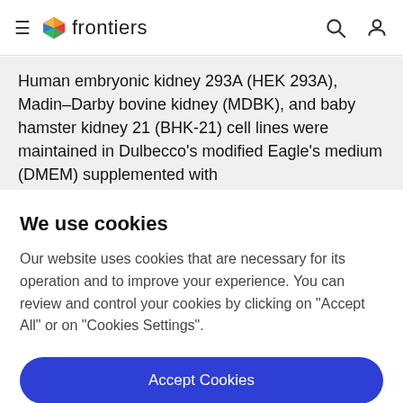frontiers
Human embryonic kidney 293A (HEK 293A), Madin–Darby bovine kidney (MDBK), and baby hamster kidney 21 (BHK-21) cell lines were maintained in Dulbecco's modified Eagle's medium (DMEM) supplemented with
We use cookies
Our website uses cookies that are necessary for its operation and to improve your experience. You can review and control your cookies by clicking on "Accept All" or on "Cookies Settings".
Accept Cookies
Cookies Settings